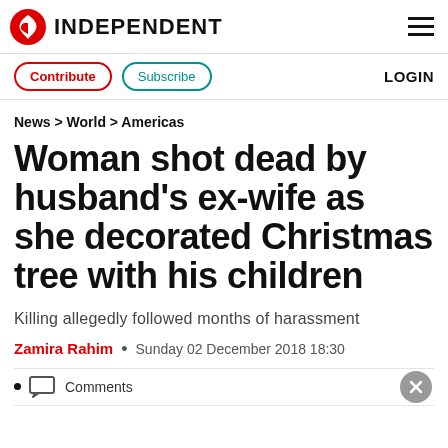INDEPENDENT
Contribute  Subscribe  LOGIN
News > World > Americas
Woman shot dead by husband's ex-wife as she decorated Christmas tree with his children
Killing allegedly followed months of harassment
Zamira Rahim • Sunday 02 December 2018 18:30
Comments